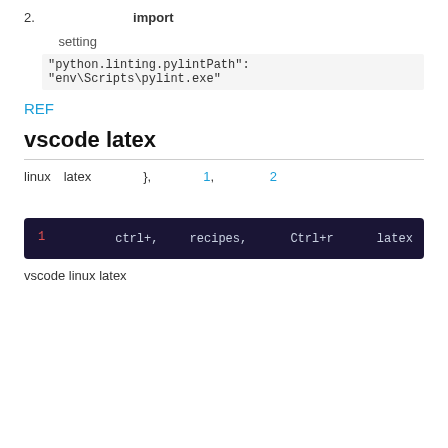2. 　　　　　　　 import
setting
"python.linting.pylintPath": "env\Scripts\pylint.exe"
REF
vscode latex
linux　latex　　　　},　　　　1, 　　　　2
[Figure (screenshot): Dark code block showing line 1 with monospace text: 　　　 ctrl+,　　 recipes,　　　 Ctrl+r　　　 latex　　　　　　　Ctrl+]
vscode linux latex